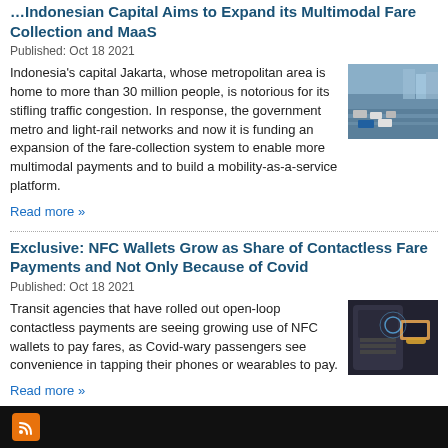Indonesian Capital Aims to Expand its Multimodal Fare Collection and MaaS
Published: Oct 18 2021
Indonesia's capital Jakarta, whose metropolitan area is home to more than 30 million people, is notorious for its stifling traffic congestion. In response, the government metro and light-rail networks and now it is funding an expansion of the fare-collection system to enable more multimodal payments and to build a mobility-as-a-service platform.
Read more »
Exclusive: NFC Wallets Grow as Share of Contactless Fare Payments and Not Only Because of Covid
Published: Oct 18 2021
Transit agencies that have rolled out open-loop contactless payments are seeing growing use of NFC wallets to pay fares, as Covid-wary passengers see convenience in tapping their phones or wearables to pay.
Read more »